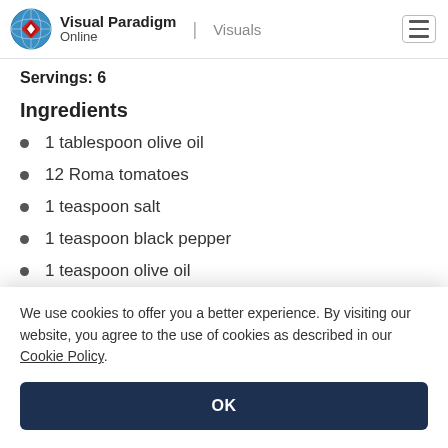Visual Paradigm Online | Visuals
Servings: 6
Ingredients
1 tablespoon olive oil
12 Roma tomatoes
1 teaspoon salt
1 teaspoon black pepper
1 teaspoon olive oil
We use cookies to offer you a better experience. By visiting our website, you agree to the use of cookies as described in our Cookie Policy.
OK